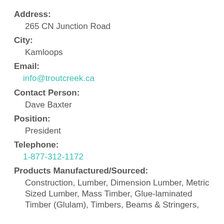Address:
265 CN Junction Road
City:
Kamloops
Email:
info@troutcreek.ca
Contact Person:
Dave Baxter
Position:
President
Telephone:
1-877-312-1172
Products Manufactured/Sourced:
Construction, Lumber, Dimension Lumber, Metric Sized Lumber, Mass Timber, Glue-laminated Timber (Glulam), Timbers, Beams & Stringers,